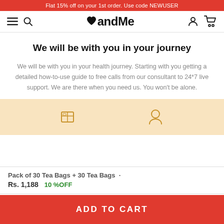Flat 15% off on your 1st order. Use code NEWUSER
[Figure (logo): andMe brand logo with heart icon, hamburger menu, search icon, user icon and cart icon navigation bar]
We will be with you in your journey
We will be with you in your health journey. Starting with you getting a detailed how-to-use guide to free calls from our consultant to 24*7 live support. We are there when you need us. You won't be alone.
[Figure (illustration): Two circular icons on a warm yellow/beige background - a tea bag book/guide icon on the left and a person/face icon on the right]
Pack of 30 Tea Bags + 30 Tea Bags · Rs. 1,188 10 %OFF
ADD TO CART